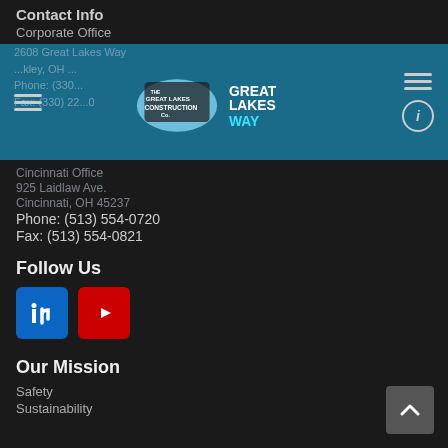Contact Info
Corporate Office
[Figure (logo): The Great Lakes Construction Co. logo with Great Lakes Way text on teal navigation banner]
2608 Great Lakes Way
Hinkley, OH 44233
Phone: (330) 225-6464
Fax: (330) 225-6010
Cincinnati Office
925 Laidlaw Ave.
Cincinnati, OH 45237
Phone: (513) 554-0720
Fax: (513) 554-0821
Follow Us
[Figure (infographic): LinkedIn and YouTube social media icon buttons]
Our Mission
Safety
Sustainability